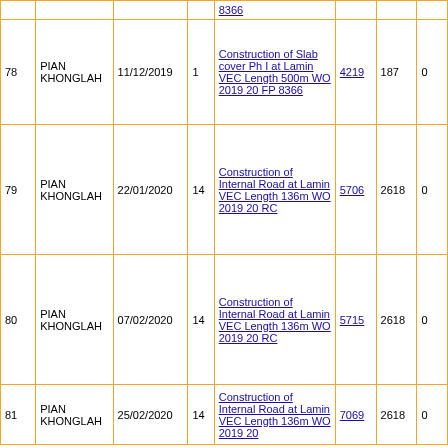| # | Location | Date | Col4 | Description | Num1 | Num2 | Num3 |
| --- | --- | --- | --- | --- | --- | --- | --- |
|  |  |  |  | 8366 |  |  |  |
| 78 | PIAN KHONGLAH | 11/12/2019 | 1 | Construction of Slab cover Ph I at Lamin VEC Length 500m WO 2019 20 FP 8366 | 4219 | 187 | 0 |
| 79 | PIAN KHONGLAH | 22/01/2020 | 14 | Construction of Internal Road at Lamin VEC Length 136m WO 2019 20 RC | 5706 | 2618 | 0 |
| 80 | PIAN KHONGLAH | 07/02/2020 | 14 | Construction of Internal Road at Lamin VEC Length 136m WO 2019 20 RC | 5715 | 2618 | 0 |
| 81 | PIAN KHONGLAH | 25/02/2020 | 14 | Construction of Internal Road at Lamin VEC Length 136m WO 2019 20 | 7069 | 2618 | 0 |